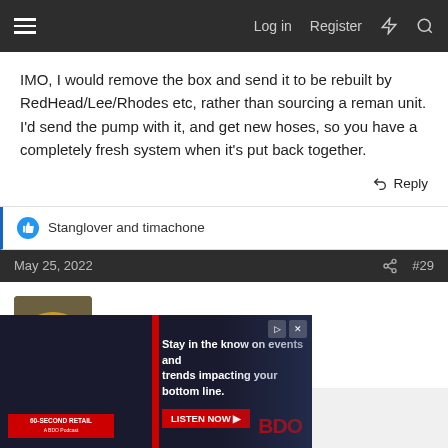≡   Log in   Register   ⚡   🔍
IMO, I would remove the box and send it to be rebuilt by RedHead/Lee/Rhodes etc, rather than sourcing a reman unit. I'd send the pump with it, and get new hoses, so you have a completely fresh system when it's put back together.
↩ Reply
👍 Stanglover and timachone
May 25, 2022   #29
73inNH
Well-known member
[Figure (advertisement): BDO advertisement: Stay in the know on events and trends impacting your bottom line. LISTEN NOW button. 60-Second Retail podcast branding. Man in glasses and blazer.]